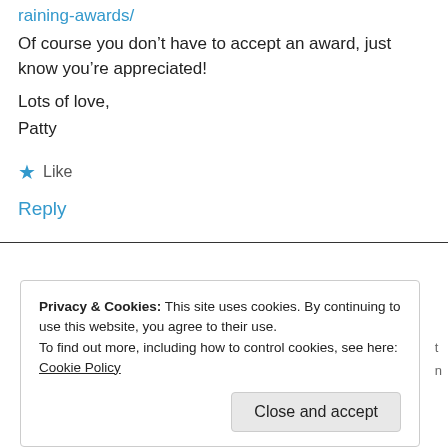raining-awards/
Of course you don't have to accept an award, just know you're appreciated!
Lots of love,
Patty
★ Like
Reply
Privacy & Cookies: This site uses cookies. By continuing to use this website, you agree to their use.
To find out more, including how to control cookies, see here: Cookie Policy
Close and accept
Dear Patty,